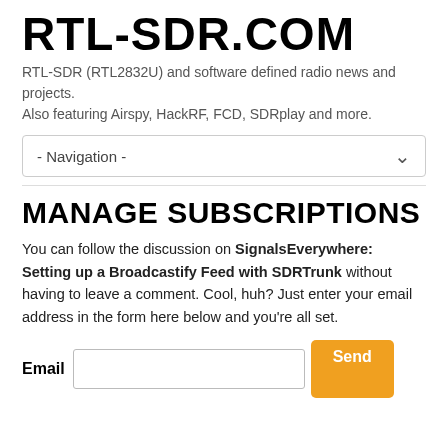RTL-SDR.COM
RTL-SDR (RTL2832U) and software defined radio news and projects. Also featuring Airspy, HackRF, FCD, SDRplay and more.
- Navigation -
MANAGE SUBSCRIPTIONS
You can follow the discussion on SignalsEverywhere: Setting up a Broadcastify Feed with SDRTrunk without having to leave a comment. Cool, huh? Just enter your email address in the form here below and you're all set.
Email [input] Send